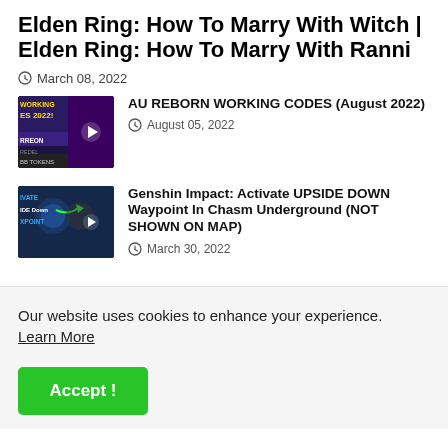Elden Ring: How To Marry With Witch | Elden Ring: How To Marry With Ranni
March 08, 2022
[Figure (screenshot): Thumbnail image for AU REBORN WORKING CODES video with gaming artwork and text overlay]
AU REBORN WORKING CODES (August 2022)
August 05, 2022
[Figure (screenshot): Thumbnail image for Genshin Impact Activate UPSIDE DOWN Waypoint video]
Genshin Impact: Activate UPSIDE DOWN Waypoint In Chasm Underground (NOT SHOWN ON MAP)
March 30, 2022
Our website uses cookies to enhance your experience. Learn More
Accept !